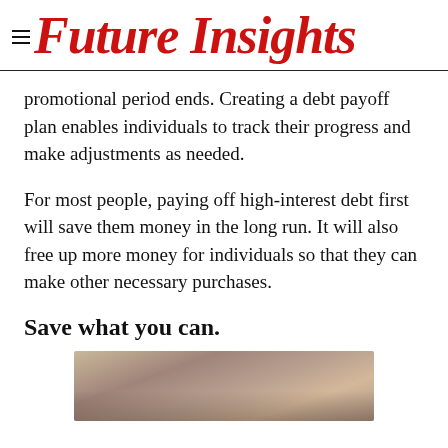Future Insights
promotional period ends. Creating a debt payoff plan enables individuals to track their progress and make adjustments as needed.
For most people, paying off high-interest debt first will save them money in the long run. It will also free up more money for individuals so that they can make other necessary purchases.
Save what you can.
[Figure (photo): Close-up photo of rolled or stacked paper currency/bills, partially visible at the bottom of the page.]